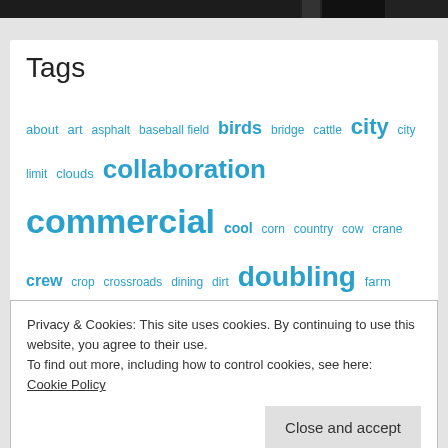[Figure (photo): Dark photograph strip at top of page showing outdoor scenes]
Tags
about art asphalt baseball field birds bridge cattle city city limit clouds collaboration commercial cool corn country cow crane crew crop crossroads dining dirt doubling farm field filmmaking green hip iconic
Privacy & Cookies: This site uses cookies. By continuing to use this website, you agree to their use. To find out more, including how to control cookies, see here: Cookie Policy
Close and accept
nature near Nebraska old market